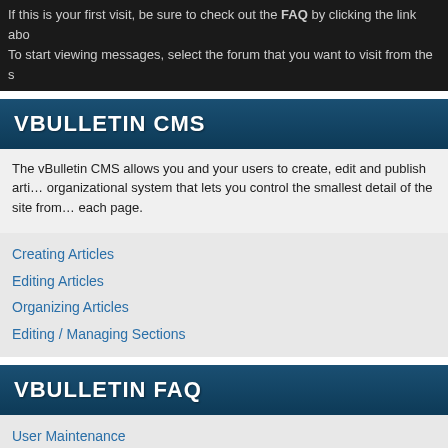If this is your first visit, be sure to check out the FAQ by clicking the link abo… To start viewing messages, select the forum that you want to visit from the s…
VBULLETIN CMS
The vBulletin CMS allows you and your users to create, edit and publish arti… organizational system that lets you control the smallest detail of the site from… each page.
Creating Articles
Editing Articles
Organizing Articles
Editing / Managing Sections
VBULLETIN FAQ
User Maintenance
General Forum Usage
Reading and Posting Messages
BOARD FAQ
Here you can find answers to questions about how the board works. Use the…
General Forum Usage
Setting and Profile Features
Reading and Posting Me…